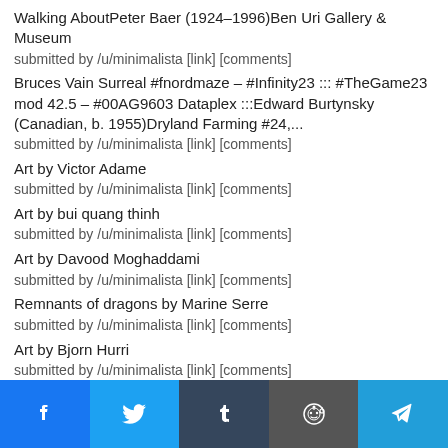Walking AboutPeter Baer (1924–1996)Ben Uri Gallery & Museum
submitted by /u/minimalista [link] [comments]
Bruces Vain Surreal #fnordmaze – #Infinity23 ::: #TheGame23 mod 42.5 – #00AG9603 Dataplex :::Edward Burtynsky (Canadian, b. 1955)Dryland Farming #24,...
submitted by /u/minimalista [link] [comments]
Art by Victor Adame
submitted by /u/minimalista [link] [comments]
Art by bui quang thinh
submitted by /u/minimalista [link] [comments]
Art by Davood Moghaddami
submitted by /u/minimalista [link] [comments]
Remnants of dragons by Marine Serre
submitted by /u/minimalista [link] [comments]
Art by Bjorn Hurri
submitted by /u/minimalista [link] [comments]
Craig Kucia (American, b. 1975)untitled (toucan, rain drops),...
submitted by /u/minimalista [link] [comments]
Nihura MontielBBC (Big Black Cat), 2021Charcoal on canvas
Facebook | Twitter | Tumblr | Reddit | Telegram